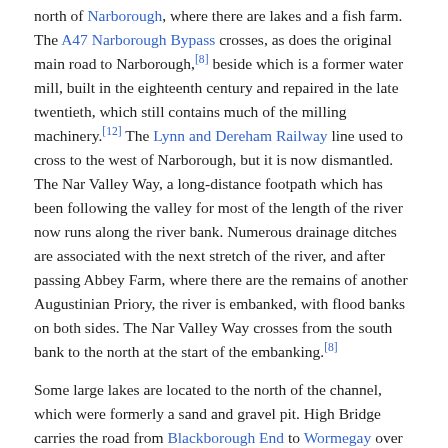north of Narborough, where there are lakes and a fish farm. The A47 Narborough Bypass crosses, as does the original main road to Narborough,[8] beside which is a former water mill, built in the eighteenth century and repaired in the late twentieth, which still contains much of the milling machinery.[12] The Lynn and Dereham Railway line used to cross to the west of Narborough, but it is now dismantled. The Nar Valley Way, a long-distance footpath which has been following the valley for most of the length of the river now runs along the river bank. Numerous drainage ditches are associated with the next stretch of the river, and after passing Abbey Farm, where there are the remains of another Augustinian Priory, the river is embanked, with flood banks on both sides. The Nar Valley Way crosses from the south bank to the north at the start of the embanking.[8]
Some large lakes are located to the north of the channel, which were formerly a sand and gravel pit. High Bridge carries the road from Blackborough End to Wormegay over the river, and Setchey Bridge carries the A10 road at Setchey. A little to the west, the channel turns to the north, where it is crossed by the railway line from Downham Market to King's Lynn. The A47 road, the A148 road